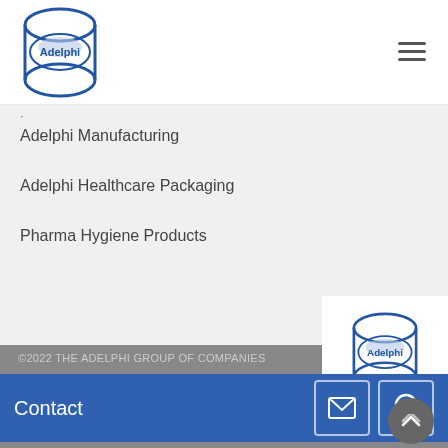[Figure (logo): Adelphi Group logo — circular blue barrel/container icon with 'Adelphi' text inside]
Adelphi Manufacturing
Adelphi Healthcare Packaging
Pharma Hygiene Products
[Figure (logo): Adelphi Group logo — smaller version]
©2022 THE ADELPHI GROUP OF COMPANIES
Contact
Media